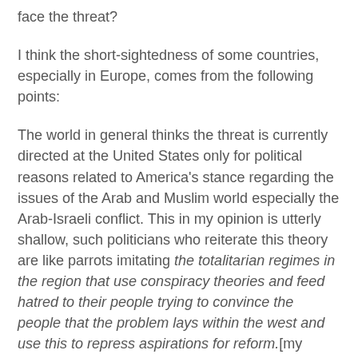face the threat?
I think the short-sightedness of some countries, especially in Europe, comes from the following points:
The world in general thinks the threat is currently directed at the United States only for political reasons related to America's stance regarding the issues of the Arab and Muslim world especially the Arab-Israeli conflict. This in my opinion is utterly shallow, such politicians who reiterate this theory are like parrots imitating the totalitarian regimes in the region that use conspiracy theories and feed hatred to their people trying to convince the people that the problem lays within the west and use this to repress aspirations for reform.[my emphasis — Dymphna].
It also looks clear that many countries think they can stay away from harm by running away from